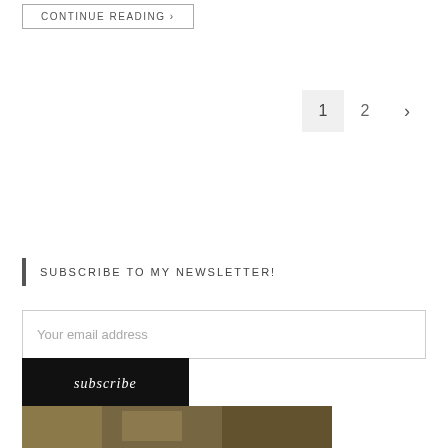CONTINUE READING →
1  2  ›
SUBSCRIBE TO MY NEWSLETTER!
Your email address
subscribe
[Figure (photo): Small thumbnail photo at bottom of page, appears to show an outdoor/nature scene with warm golden tones]